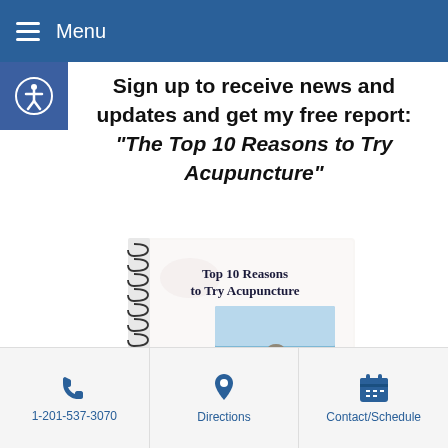Menu
Sign up to receive news and updates and get my free report: “The Top 10 Reasons to Try Acupuncture”
[Figure (photo): Spiral-bound book titled 'Top 10 Reasons to Try Acupuncture' with stacked rocks and a red stamp on the cover]
1-201-537-3070 | Directions | Contact/Schedule